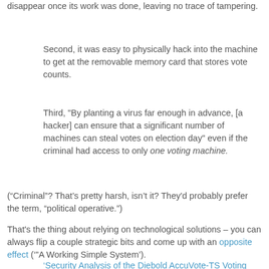disappear once its work was done, leaving no trace of tampering.
Second, it was easy to physically hack into the machine to get at the removable memory card that stores vote counts.
Third, "By planting a virus far enough in advance, [a hacker] can ensure that a significant number of machines can steal votes on election day" even if the criminal had access to only one voting machine.
("Criminal"? That’s pretty harsh, isn’t it? They'd probably prefer the term, “political operative.”)
That's the thing about relying on technological solutions – you can always flip a couple strategic bits and come up with an opposite effect ('"A Working Simple System').
'Security Analysis of the Diebold AccuVote-TS Voting Machine'
By Feldman, Halderman, and Felten of